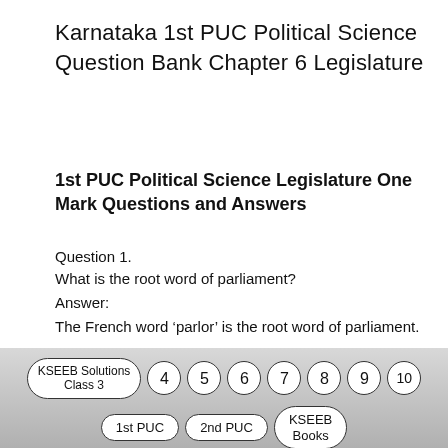Karnataka 1st PUC Political Science Question Bank Chapter 6 Legislature
1st PUC Political Science Legislature One Mark Questions and Answers
Question 1.
What is the root word of parliament?
Answer:
The French word ‘parlor’ is the root word of parliament.
[Figure (other): Navigation bar with pill-shaped buttons: KSEEB Solutions Class 3, numbers 4 5 6 7 8 9 10, and pills 1st PUC, 2nd PUC, KSEEB Books]